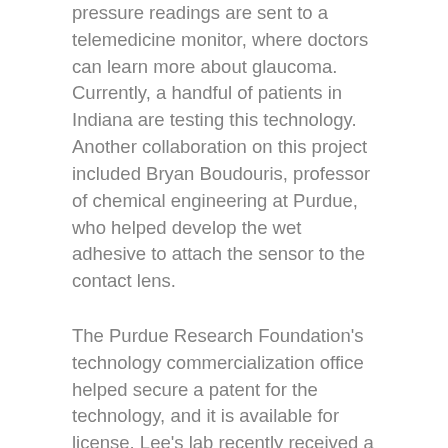pressure readings are sent to a telemedicine monitor, where doctors can learn more about glaucoma. Currently, a handful of patients in Indiana are testing this technology. Another collaboration on this project included Bryan Boudouris, professor of chemical engineering at Purdue, who helped develop the wet adhesive to attach the sensor to the contact lens.
The Purdue Research Foundation's technology commercialization office helped secure a patent for the technology, and it is available for license. Lee's lab recently received a $ 2 million grant from the National Institutes of Health with Yannis Paulus, assistant professor of ophthalmology at the University of Michigan Ann Arbor, who helped evaluate the contact lens device in a drug administration framework.
“By combining all this expertise, we are going in the right direction,â€ says Lee. “Purdue has the perfect